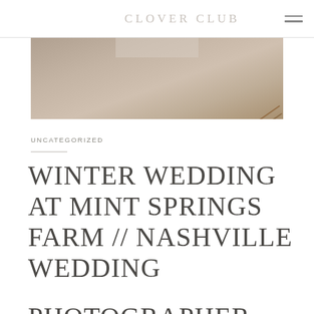CLOVER CLUB
[Figure (photo): Close-up photo of a warm-toned surface, likely a table or floor, with a diagonal gold/brass element visible in the corner. A light-colored rectangular overlay is partially visible at the top.]
UNCATEGORIZED
WINTER WEDDING AT MINT SPRINGS FARM // NASHVILLE WEDDING PHOTOGRAPHER